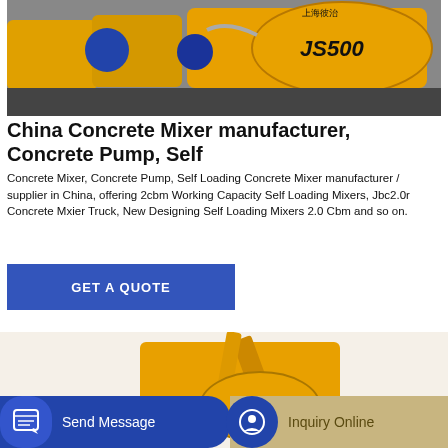[Figure (photo): Industrial yellow concrete mixer machines labeled JS500 lined up in a row, photographed in a factory or outdoor setting.]
China Concrete Mixer manufacturer, Concrete Pump, Self
Concrete Mixer, Concrete Pump, Self Loading Concrete Mixer manufacturer / supplier in China, offering 2cbm Working Capacity Self Loading Mixers, Jbc2.0r Concrete Mxier Truck, New Designing Self Loading Mixers 2.0 Cbm and so on.
GET A QUOTE
[Figure (photo): Yellow self-loading concrete mixer truck or pump machine partially visible at bottom of page.]
Send Message
Inquiry Online